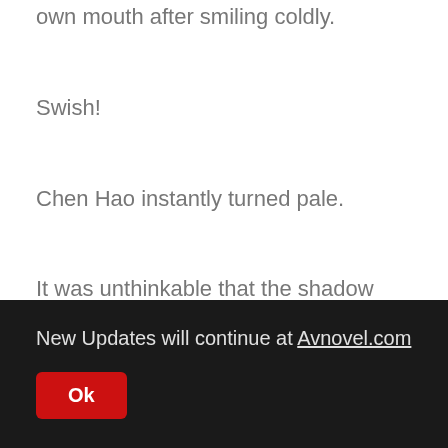own mouth after smiling coldly.
Swish!
Chen Hao instantly turned pale.
It was unthinkable that the shadow had come for his Fish Intestine Sword, and how did he know that he had obtained it?
New Updates will continue at Avnovel.com
Ok